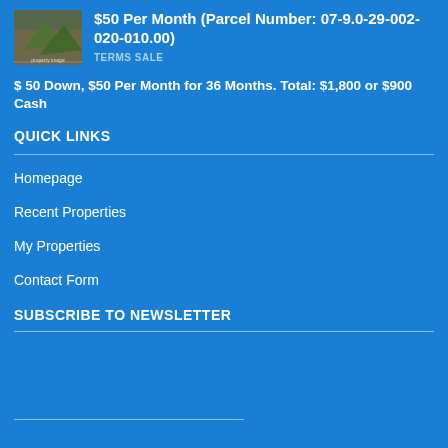[Figure (photo): Thumbnail image of a property with green plant/vegetation visible]
$50 Per Month (Parcel Number: 07-9.0-29-002-020-010.00)
TERMS SALE
$ 50 Down, $50 Per Month for 36 Months. Total: $1,800 or $900 Cash
QUICK LINKS
Homepage
Recent Properties
My Properties
Contact Form
SUBSCRIBE TO NEWSLETTER